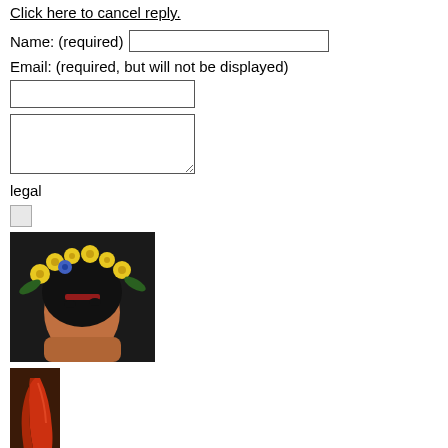Click here to cancel reply.
Name: (required)
Email: (required, but will not be displayed)
legal
[Figure (photo): A woman with colorful flower crown, artistic portrait]
[Figure (photo): Small image of a red horn/instrument on dark background]
01
[Figure (photo): Small portrait of a woman with flower crown]
02
[Figure (photo): Dark image with reddish hands/figures]